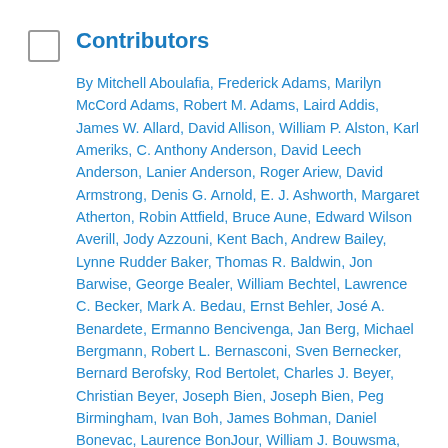Contributors
By Mitchell Aboulafia, Frederick Adams, Marilyn McCord Adams, Robert M. Adams, Laird Addis, James W. Allard, David Allison, William P. Alston, Karl Ameriks, C. Anthony Anderson, David Leech Anderson, Lanier Anderson, Roger Ariew, David Armstrong, Denis G. Arnold, E. J. Ashworth, Margaret Atherton, Robin Attfield, Bruce Aune, Edward Wilson Averill, Jody Azzouni, Kent Bach, Andrew Bailey, Lynne Rudder Baker, Thomas R. Baldwin, Jon Barwise, George Bealer, William Bechtel, Lawrence C. Becker, Mark A. Bedau, Ernst Behler, José A. Benardete, Ermanno Bencivenga, Jan Berg, Michael Bergmann, Robert L. Bernasconi, Sven Bernecker, Bernard Berofsky, Rod Bertolet, Charles J. Beyer, Christian Beyer, Joseph Bien, Joseph Bien, Peg Birmingham, Ivan Boh, James Bohman, Daniel Bonevac, Laurence BonJour, William J. Bouwsma, Raymond D. Bradley, Myles Brand, Richard B. Brandt, Michael E. Bratman, Stephen E. Braude, Daniel Breazeale, Angela Breitenbach, Jason Bridges, David O. Brink, Gordon G. Brittan, Justin Broackes, Dan W. Brock, Aaron Bronfman, Jeffrey E. Brower, Bartosz